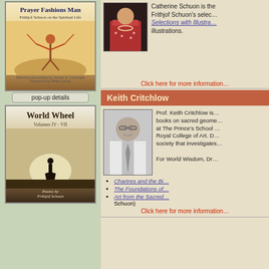[Figure (illustration): Book cover: Prayer Fashions Man - Frithjof Schuon on the Spiritual Life, with Native American figure artwork]
pop-up details
[Figure (illustration): Book cover: World Wheel Volumes IV-VII, poems by Frithjof Schuon, silhouette of person against bright sky]
[Figure (photo): Photo of Catherine Schuon in traditional dress with colorful shawl]
Catherine Schuon is the… Frithjof Schuon's selec… Selections with Illustra… illustrations.
Click here for more information
Keith Critchlow
[Figure (photo): Black and white photo of Prof. Keith Critchlow, older man with glasses, smiling]
Prof. Keith Critchlow is… books on sacred geome… at The Prince's School… Royal College of Art. D… society that investigates… For World Wisdom, Dr…
Chartres and the Bi…
The Foundations of…
Art from the Sacred… Schuon)
Click here for more information